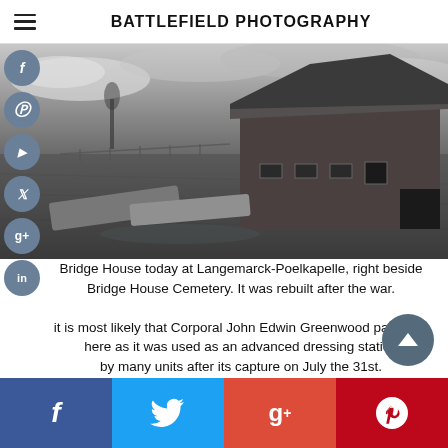BATTLEFIELD PHOTOGRAPHY
[Figure (photo): Black and white photograph of Bridge House today at Langemarck-Poelkapelle, showing a brick farmhouse with a large sloped roof, muddy field in the foreground with what appear to be grave markers or stone slabs lying flat on the ground, overcast sky.]
Bridge House today at Langemarck-Poelkapelle, right beside Bridge House Cemetery. It was rebuilt after the war.
it is most likely that Corporal John Edwin Greenwood past time here as it was used as an advanced dressing station by many units after its capture on July the 31st.